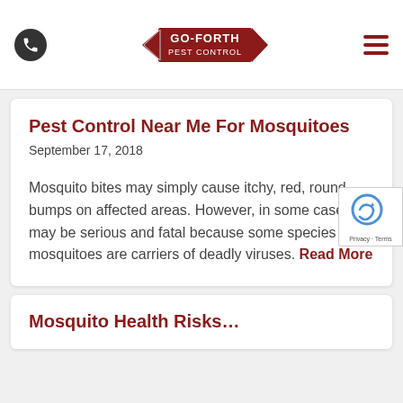[Figure (logo): Go-Forth Pest Control logo with arrow shapes pointing left and right]
Pest Control Near Me For Mosquitoes
September 17, 2018
Mosquito bites may simply cause itchy, red, round bumps on affected areas. However, in some cases, it may be serious and fatal because some species of mosquitoes are carriers of deadly viruses. Read More
Mosquito Health Risks…